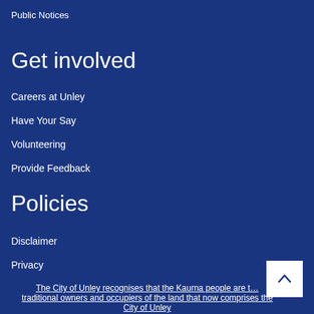Public Notices
Get involved
Careers at Unley
Have Your Say
Volunteering
Provide Feedback
Policies
Disclaimer
Privacy
The City of Unley recognises that the Kaurna people are the traditional owners and occupiers of the land that now comprises the City of Unley.